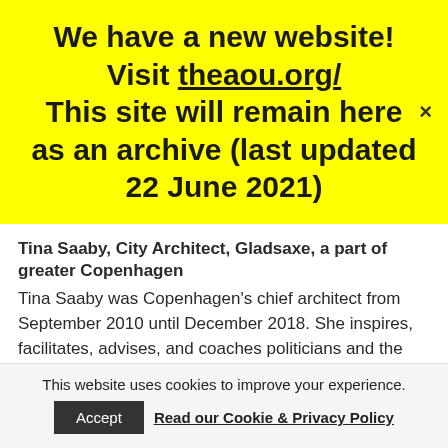We have a new website! Visit theaou.org/ This site will remain here as an archive (last updated 22 June 2021)
Tina Saaby, City Architect, Gladsaxe, a part of greater Copenhagen
Tina Saaby was Copenhagen's chief architect from September 2010 until December 2018. She inspires, facilitates, advises, and coaches politicians and the city
This website uses cookies to improve your experience.
Accept   Read our Cookie & Privacy Policy